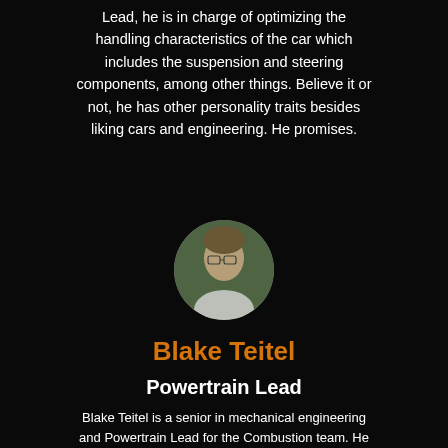Lead, he is in charge of optimizing the handling characteristics of the car which includes the suspension and steering components, among other things. Believe it or not, he has other personality traits besides liking cars and engineering. He promises.
[Figure (photo): Circular cropped headshot of Blake Teitel, a person with glasses and light skin, outdoors with blurred green background.]
Blake Teitel
Powertrain Lead
Blake Teitel is a senior in mechanical engineering and Powertrain Lead for the Combustion team. He is responsible for the engineering and integration of engine controls and development, thermal and fluids systems, and the drivetrain of the car. Despite caring deeply about carbon emissions, he does not care about carbon emissions, because racecar.